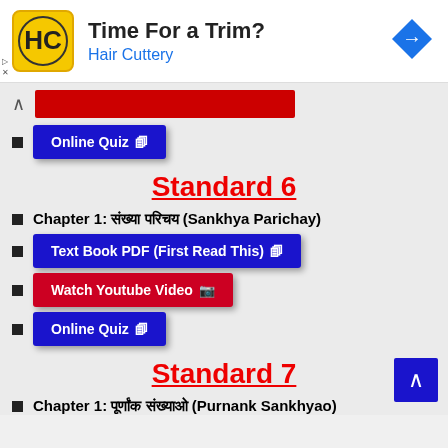[Figure (other): Advertisement banner for Hair Cuttery with logo, headline 'Time For a Trim?', and a blue navigation arrow icon]
Online Quiz
Standard 6
Chapter 1: संख्या परिचय (Sankhya Parichay)
Text Book PDF (First Read This)
Watch Youtube Video
Online Quiz
Standard 7
Chapter 1: पूर्णांक संख्याओ (Purnank Sankhyao)